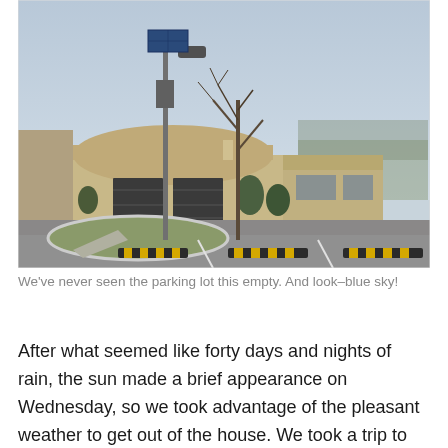[Figure (photo): Outdoor photo of a parking lot in front of a commercial building with a curved/dome roof. A solar-powered street lamp and a bare tree stand in a landscaped island in the foreground. Yellow and black speed bumps are visible in the empty parking lot. The sky is light overcast blue. Trees are visible in the background.]
We've never seen the parking lot this empty. And look–blue sky!
After what seemed like forty days and nights of rain, the sun made a brief appearance on Wednesday, so we took advantage of the pleasant weather to get out of the house. We took a trip to the Riverhead Aquarium where it...